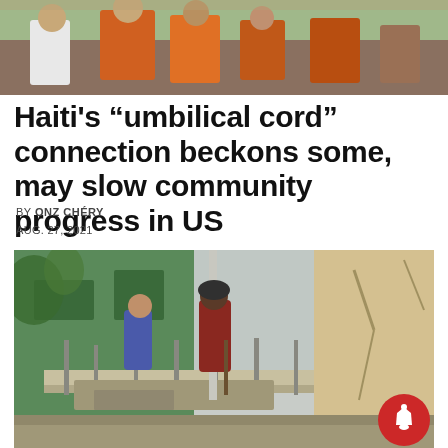[Figure (photo): Top photo showing people in orange and white clothing outdoors]
Haiti’s “umbilical cord” connection beckons some, may slow community progress in US
BY ONZ CHÉRY
AUG. 27, 2021
[Figure (photo): Photo of workers on a damaged or collapsed building balcony in Haiti, with debris visible and a cracked wall to the right]